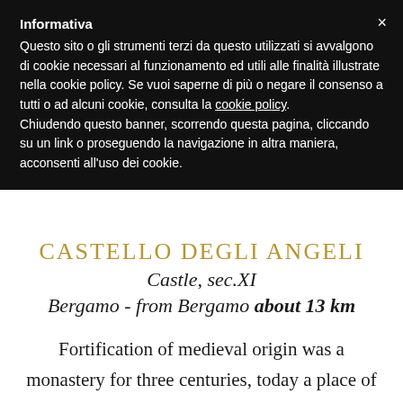Informativa
Questo sito o gli strumenti terzi da questo utilizzati si avvalgono di cookie necessari al funzionamento ed utili alle finalità illustrate nella cookie policy. Se vuoi saperne di più o negare il consenso a tutti o ad alcuni cookie, consulta la cookie policy. Chiudendo questo banner, scorrendo questa pagina, cliccando su un link o proseguendo la navigazione in altra maniera, acconsenti all'uso dei cookie.
CASTELLO DEGLI ANGELI
Castle, sec.XI
Bergamo - from Bergamo about 13 km
Fortification of medieval origin was a monastery for three centuries, today a place of great celebration. The first documents date back to the year 1000, then in 1400 the